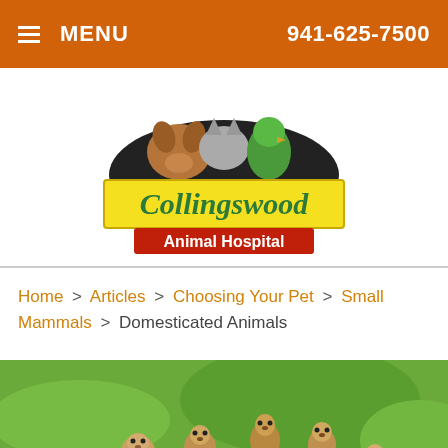MENU   941-625-7500
[Figure (logo): Collingswood Animal Hospital logo with dog, cat, and parrot silhouettes above yellow banner reading 'Collingswood' and red banner reading 'Animal Hospital']
Home > Articles > Choosing Your Pet > Small Mammals > Domesticated Animals
[Figure (photo): Group of prairie dogs or meerkats sitting in grass/dirt outdoors]